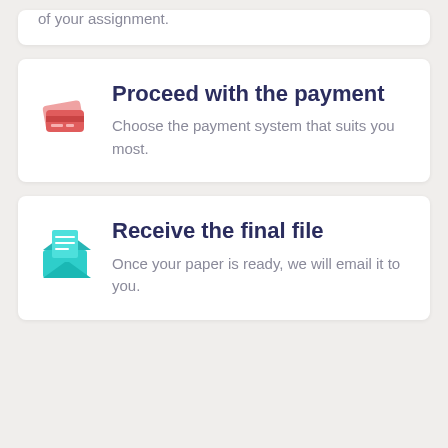of your assignment.
Proceed with the payment
Choose the payment system that suits you most.
Receive the final file
Once your paper is ready, we will email it to you.